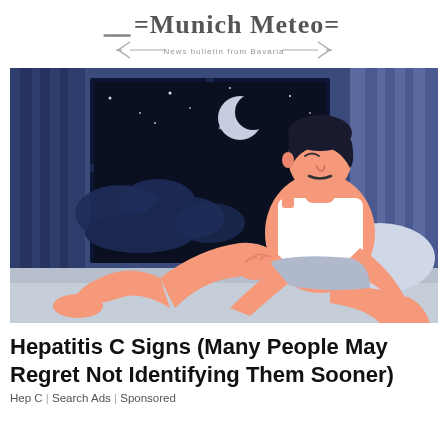Munich Meteo — News bulletin from Bavaria
[Figure (illustration): Flat illustration of a man sitting on a bed at night, leaning back, with one leg raised, wearing a white tank top and gray shorts. A window behind him shows a dark night sky with a crescent moon, stars, and clouds. Blue and purple curtains frame the scene.]
Hepatitis C Signs (Many People May Regret Not Identifying Them Sooner)
Hep C | Search Ads | Sponsored